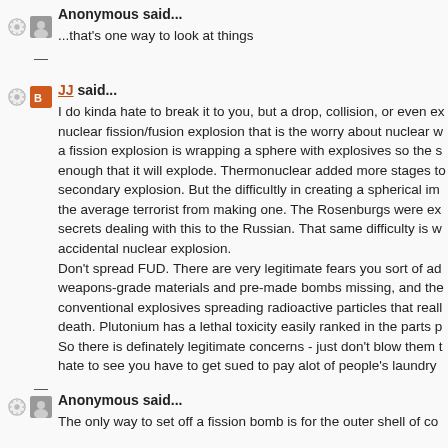Anonymous said...
...that's one way to look at things
JJ said...
I do kinda hate to break it to you, but a drop, collision, or even ex nuclear fission/fusion explosion that is the worry about nuclear w a fission explosion is wrapping a sphere with explosives so the s enough that it will explode. Thermonuclear added more stages to secondary explosion. But the difficultly in creating a spherical im the average terrorist from making one. The Rosenburgs were ex secrets dealing with this to the Russian. That same difficulty is w accidental nuclear explosion.
Don't spread FUD. There are very legitimate fears you sort of ad weapons-grade materials and pre-made bombs missing, and the conventional explosives spreading radioactive particles that reall death. Plutonium has a lethal toxicity easily ranked in the parts p So there is definately legitimate concerns - just don't blow them t hate to see you have to get sued to pay alot of people's laundry
Anonymous said...
The only way to set off a fission bomb is for the outer shell of co